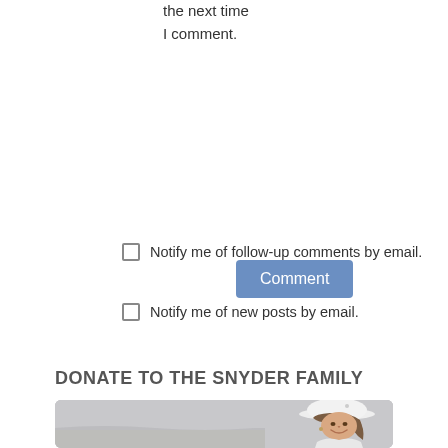the next time
I comment.
Comment
Notify me of follow-up comments by email.
Notify me of new posts by email.
DONATE TO THE SNYDER FAMILY
[Figure (photo): Photo of a smiling young woman wearing a white cap and white top, on a beach background]